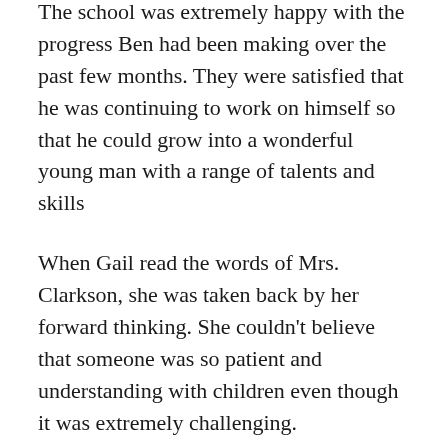The school was extremely happy with the progress Ben had been making over the past few months. They were satisfied that he was continuing to work on himself so that he could grow into a wonderful young man with a range of talents and skills
When Gail read the words of Mrs. Clarkson, she was taken back by her forward thinking. She couldn't believe that someone was so patient and understanding with children even though it was extremely challenging.
To show the world how great Mrs. Clarkson is, she went on Twitter and posted the letter. Soon, her tweet went viral as the world congratulated Mrs. Clarkson in handling the situation like a level-headed human being.
It goes to show that if we are tactful in handling precarious situations, it can go a long way. For example, in this situation, if Mrs. Clarkson didn't handle Ben's case carefully, the could have att…